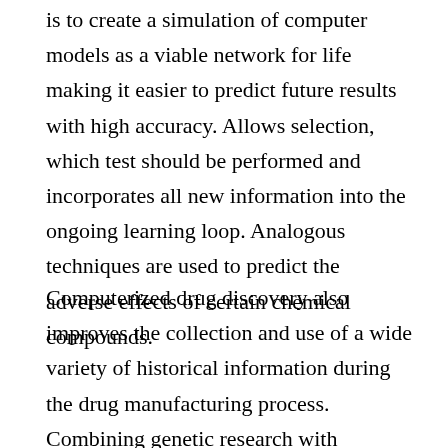is to create a simulation of computer models as a viable network for life making it easier to predict future results with high accuracy. Allows selection, which test should be performed and incorporates all new information into the ongoing learning loop. Analogous techniques are used to predict the adverse effects of certain chemical compounds.
Computerized drug discovery also improves the collection and use of a wide variety of historical information during the drug manufacturing process. Combining genetic research with protein-binding data can produce amazing results.